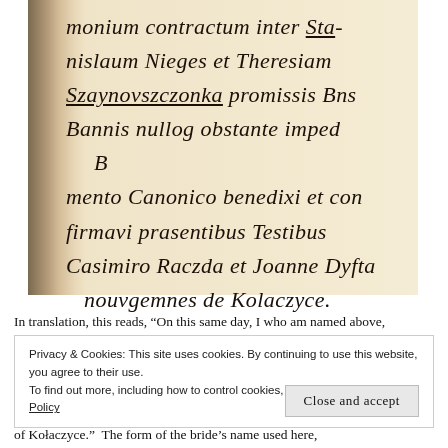[Figure (photo): Photograph of a historical handwritten manuscript page in Latin cursive script, showing text about a marriage contract involving Stanislaum Nieges et Theresiam Szaynovszczonka, with witnesses Casimiro Raczda et Joanne Dyfta, omnes de Kolaczyce.]
In translation, this reads, “On this same day, I who am named above,
Privacy & Cookies: This site uses cookies. By continuing to use this website, you agree to their use.
To find out more, including how to control cookies, see here: Our Cookie Policy
Close and accept
of Kołaczyce.”  The form of the bride’s name used here,